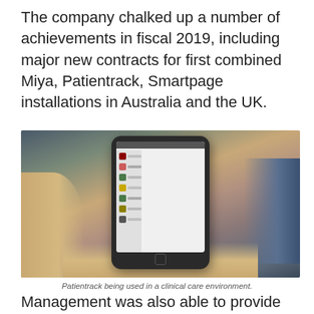The company chalked up a number of achievements in fiscal 2019, including major new contracts for first combined Miya, Patientrack, Smartpage installations in Australia and the UK.
[Figure (photo): A person holding a tablet device showing a clinical application (Patientrack) with a list of patients or records displayed on screen, in a clinical care environment.]
Patientrack being used in a clinical care environment.
Management was also able to provide a strong outlook statement with the company showing above average growth